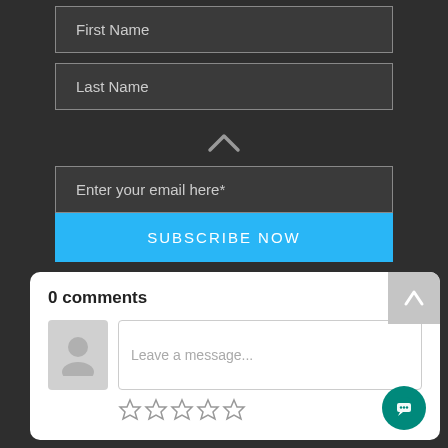[Figure (screenshot): Form fields for First Name and Last Name on dark background]
[Figure (infographic): Upward chevron/caret icon]
[Figure (screenshot): Email input field with placeholder 'Enter your email here*']
[Figure (screenshot): Blue subscribe now button]
[Figure (screenshot): Comments section card with 0 comments, avatar placeholder, leave a message input, star rating, and chat bubble FAB]